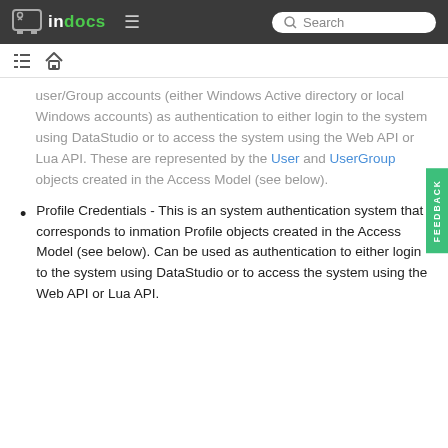indocs — Search navigation bar
user/Group accounts (either Windows Active directory or local Windows accounts) as authentication to either login to the system using DataStudio or to access the system using the Web API or Lua API. These are represented by the User and UserGroup objects created in the Access Model (see below).
Profile Credentials - This is an system authentication system that corresponds to inmation Profile objects created in the Access Model (see below). Can be used as authentication to either login to the system using DataStudio or to access the system using the Web API or Lua API.